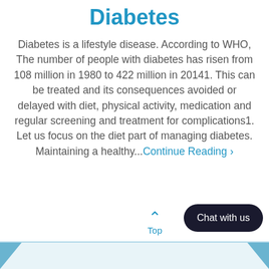Diabetes
Diabetes is a lifestyle disease. According to WHO, The number of people with diabetes has risen from 108 million in 1980 to 422 million in 20141. This can be treated and its consequences avoided or delayed with diet, physical activity, medication and regular screening and treatment for complications1. Let us focus on the diet part of managing diabetes. Maintaining a healthy...Continue Reading ›